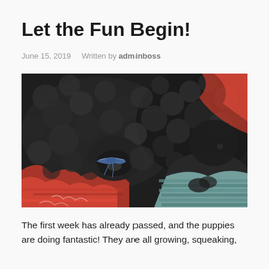Let the Fun Begin!
June 15, 2019    Written by adminboss
[Figure (photo): Close-up photo of black curly-haired puppies with a blue ribbon, nestled against red and teal knit fabric]
The first week has already passed, and the puppies are doing fantastic! They are all growing, squeaking, crawling, and generally having a great time exploring...